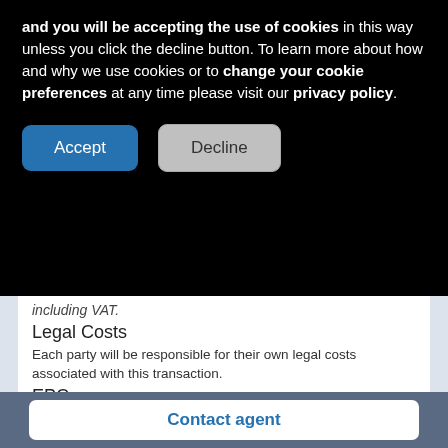and you will be accepting the use of cookies in this way unless you click the decline button. To learn more about how and why we use cookies or to change your cookie preferences at any time please visit our privacy policy.
Accept
Decline
including VAT.
Legal Costs
Each party will be responsible for their own legal costs associated with this transaction.
EPC
D 85
Ingoing Incentives Available
Contact agent